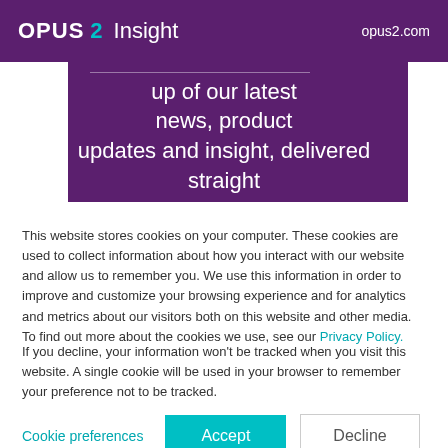OPUS2 Insight — opus2.com
up of our latest news, product updates and insight, delivered straight
This website stores cookies on your computer. These cookies are used to collect information about how you interact with our website and allow us to remember you. We use this information in order to improve and customize your browsing experience and for analytics and metrics about our visitors both on this website and other media. To find out more about the cookies we use, see our Privacy Policy.
If you decline, your information won't be tracked when you visit this website. A single cookie will be used in your browser to remember your preference not to be tracked.
Cookie preferences   Accept   Decline